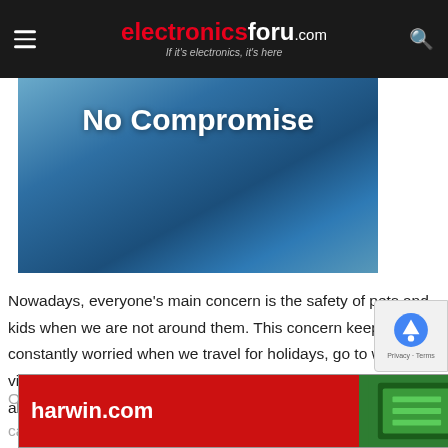electronicsforu.com — If it's electronics, it's here
[Figure (illustration): Blue gradient background image with white bold text reading 'No Compromise' at the top]
Nowadays, everyone's main concern is the safety of pets and kids when we are not around them. This concern keeps us constantly worried when we travel for holidays, go to work or visit shops. We wish to monitor our home and get updates about the kids and pets whenever we want without bothering them
One of ... camera ... ids
[Figure (advertisement): harwin.com advertisement banner in red with green electronics components image on the right]